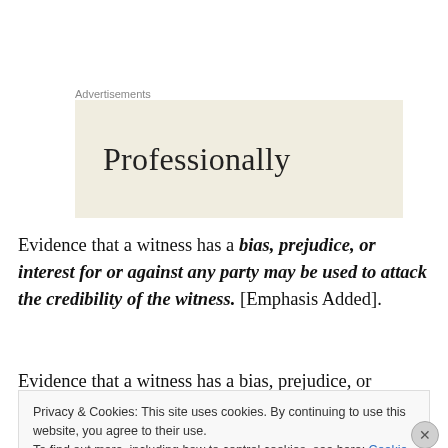Advertisements
[Figure (other): Advertisement banner with 'Professionally' text on beige background]
Evidence that a witness has a bias, prejudice, or interest for or against any party may be used to attack the credibility of the witness. [Emphasis Added].
Evidence that a witness has a bias, prejudice, or interest
Privacy & Cookies: This site uses cookies. By continuing to use this website, you agree to their use.
To find out more, including how to control cookies, see here: Cookie Policy